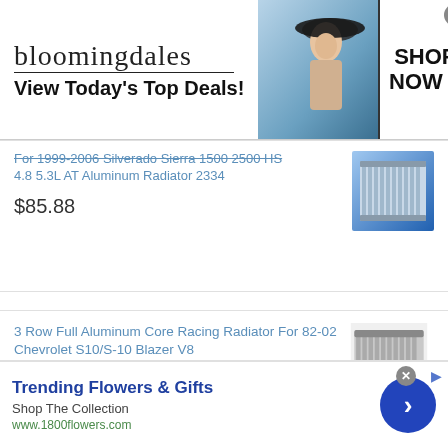[Figure (photo): Bloomingdales advertisement banner with logo, 'View Today's Top Deals!' tagline, model with hat, and 'SHOP NOW >' button]
For 1999-2006 Silverado Sierra 1500 2500 HS 4.8 5.3L AT Aluminum Radiator 2334
$85.88
[Figure (photo): Aluminum radiator product image on blue background]
3 Row Full Aluminum Core Racing Radiator For 82-02 Chevrolet S10/S-10 Blazer V8
$118.99
[Figure (photo): Aluminum core racing radiator product image]
[Figure (photo): 1800flowers.com advertisement: Trending Flowers & Gifts, Shop The Collection]